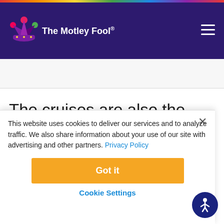[Figure (logo): The Motley Fool logo with jester hat in purple header with rainbow bar at top and hamburger menu icon on the right]
The cruises are also the first to originate from the
This website uses cookies to deliver our services and to analyze traffic. We also share information about your use of our site with advertising and other partners. Privacy Policy
Got it
Cookie Settings